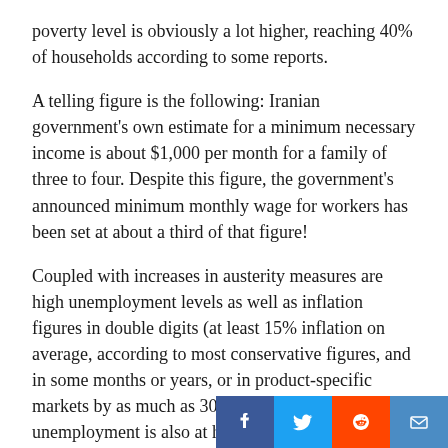poverty level is obviously a lot higher, reaching 40% of households according to some reports.
A telling figure is the following: Iranian government's own estimate for a minimum necessary income is about $1,000 per month for a family of three to four. Despite this figure, the government's announced minimum monthly wage for workers has been set at about a third of that figure!
Coupled with increases in austerity measures are high unemployment levels as well as inflation figures in double digits (at least 15% inflation on average, according to most conservative figures, and in some months or years, or in product-specific markets by as much as 30-40%). Youth unemployment is also at high levels, with some reports estimating that in 2017 youth unemployment reached just above 30% (4). With such high unemployment rates and high inflation, in view of the fact that for the past ten years govern